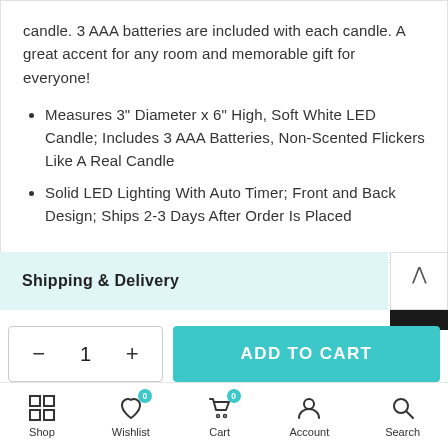candle. 3 AAA batteries are included with each candle. A great accent for any room and memorable gift for everyone!
Measures 3" Diameter x 6" High, Soft White LED Candle; Includes 3 AAA Batteries, Non-Scented Flickers Like A Real Candle
Solid LED Lighting With Auto Timer; Front and Back Design; Ships 2-3 Days After Order Is Placed
Shipping & Delivery
- 1 +  ADD TO CART
Shop  Wishlist  Cart  Account  Search